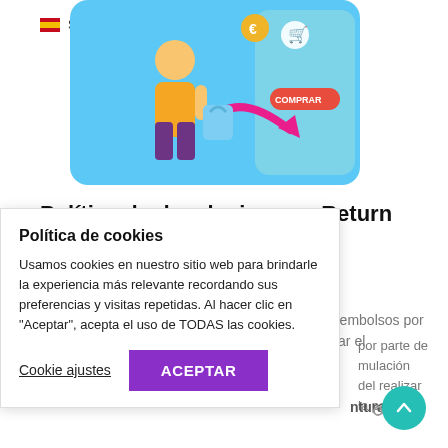Spanish
[Figure (illustration): Hero image showing a person in a yellow shirt holding shopping bags with euro coins, a shopping cart, and a pink arrow, on a light blue background with a phone UI showing a COMPRAR button]
Política de devoluciones – Return policy – Politique de retour
100% Reembolsable en los siguientes casos Reembolsos por restricciones de covid 19 que nos impidan realizar el
por parte de mulación del realizar la para la
nturas
Política de cookies
Usamos cookies en nuestro sitio web para brindarle la experiencia más relevante recordando sus preferencias y visitas repetidas. Al hacer clic en "Aceptar", acepta el uso de TODAS las cookies.
Cookie ajustes    ACEPTAR
[Figure (other): Share icon (network share symbol)]
[Figure (other): Back to top circular teal button with upward chevron arrow]